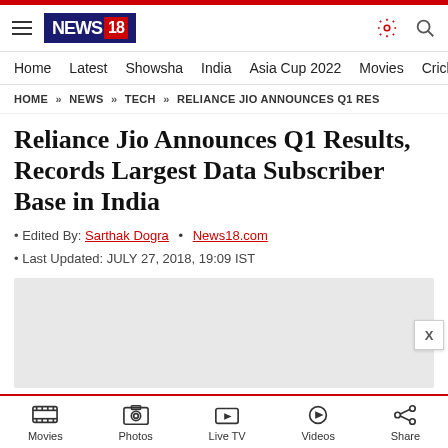NEWS18
Home  Latest  Showsha  India  Asia Cup 2022  Movies  Cricket
HOME » NEWS » TECH » RELIANCE JIO ANNOUNCES Q1 RES
Reliance Jio Announces Q1 Results, Records Largest Data Subscriber Base in India
Edited By: Sarthak Dogra • News18.com
Last Updated: JULY 27, 2018, 19:09 IST
[Figure (other): Advertisement placeholder block with close button]
Movies  Photos  Live TV  Videos  Share